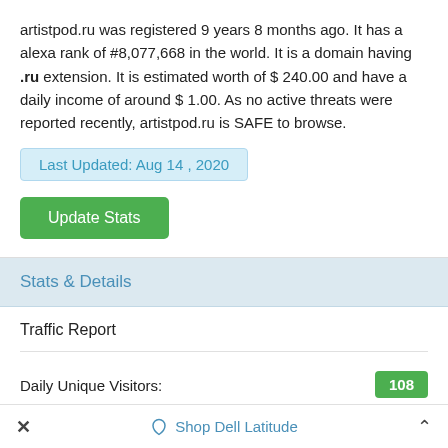artistpod.ru was registered 9 years 8 months ago. It has a alexa rank of #8,077,668 in the world. It is a domain having .ru extension. It is estimated worth of $ 240.00 and have a daily income of around $ 1.00. As no active threats were reported recently, artistpod.ru is SAFE to browse.
Last Updated: Aug 14 , 2020
Update Stats
Stats & Details
Traffic Report
|  |  |
| --- | --- |
| Daily Unique Visitors: | 108 |
× Shop Dell Latitude ^